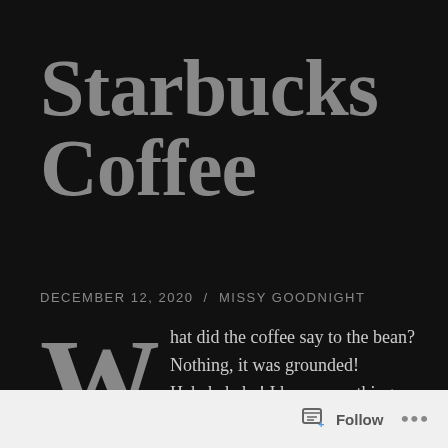Starbucks Coffee
DECEMBER 12, 2020 / MISSY GOODNIGHT
What did the coffee say to the bean? Nothing, it was grounded! Hahahahaha! I have something serious to talk to you guys about: Why does the Starbucks coffee at the store hit
Follow ...